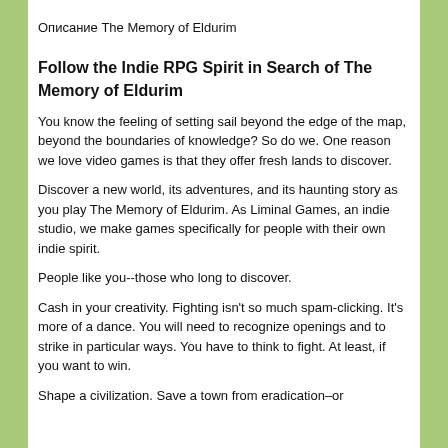Описание The Memory of Eldurim
Follow the Indie RPG Spirit in Search of The Memory of Eldurim
You know the feeling of setting sail beyond the edge of the map, beyond the boundaries of knowledge? So do we. One reason we love video games is that they offer fresh lands to discover.
Discover a new world, its adventures, and its haunting story as you play The Memory of Eldurim. As Liminal Games, an indie studio, we make games specifically for people with their own indie spirit.
People like you--those who long to discover.
Cash in your creativity. Fighting isn't so much spam-clicking. It's more of a dance. You will need to recognize openings and to strike in particular ways. You have to think to fight. At least, if you want to win.
Shape a civilization. Save a town from eradication–or